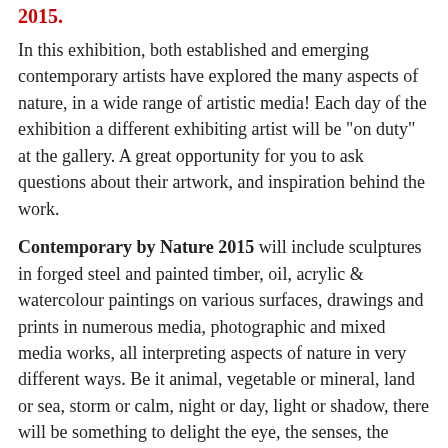2015.
In this exhibition, both established and emerging contemporary artists have explored the many aspects of nature, in a wide range of artistic media! Each day of the exhibition a different exhibiting artist will be "on duty" at the gallery. A great opportunity for you to ask questions about their artwork, and inspiration behind the work.
Contemporary by Nature 2015 will include sculptures in forged steel and painted timber, oil, acrylic & watercolour paintings on various surfaces, drawings and prints in numerous media, photographic and mixed media works, all interpreting aspects of nature in very different ways. Be it animal, vegetable or mineral, land or sea, storm or calm, night or day, light or shadow, there will be something to delight the eye, the senses, the imagination. Come and enjoy ....
More info....
Herring Island is in the middle of the Yarra River, just 3km from the city. The Herring Island Environmental Sculpture Park is a haven for nature and art lovers alike. The exhibition will be held in the gallery on the island. There are several permanent sculptures made from natural materials that reflect the island's tranquil setting. A few self-guided tours; one of the island is available to the ...